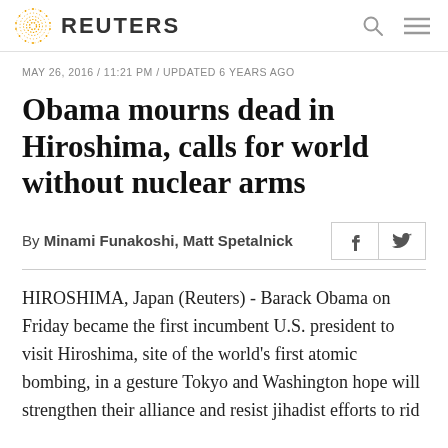REUTERS
MAY 26, 2016 / 11:21 PM / UPDATED 6 YEARS AGO
Obama mourns dead in Hiroshima, calls for world without nuclear arms
By Minami Funakoshi, Matt Spetalnick
HIROSHIMA, Japan (Reuters) - Barack Obama on Friday became the first incumbent U.S. president to visit Hiroshima, site of the world's first atomic bombing, in a gesture Tokyo and Washington hope will strengthen their alliance and resist jihadist efforts to rid